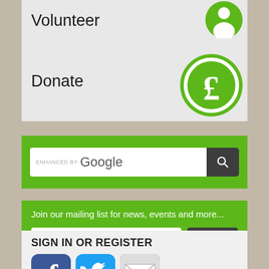Volunteer
[Figure (illustration): Green circle with white silhouette of a person (volunteer icon)]
Donate
[Figure (illustration): Green circle with white pound sign (donate/currency icon)]
[Figure (screenshot): Google search bar with 'ENHANCED BY Google' text and a search button with magnifying glass icon on green background]
Join our mailing list for news, events and more...
Email address
Join
Our Privacy Policy
SIGN IN OR REGISTER
[Figure (illustration): Facebook, Twitter, and email social media icon buttons]